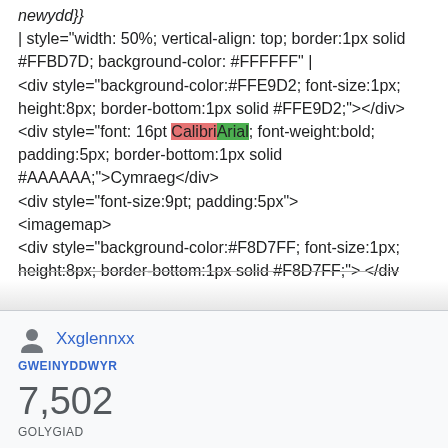newydd}}
| style="width: 50%; vertical-align: top; border:1px solid #FFBD7D; background-color: #FFFFFF" |
<div style="background-color:#FFE9D2; font-size:1px; height:8px; border-bottom:1px solid #FFE9D2;"></div>
<div style="font: 16pt CalibriArial; font-weight:bold; padding:5px; border-bottom:1px solid #AAAAAA;">Cymraeg</div>
<div style="font-size:9pt; padding:5px">
<imagemap>
<div style="background-color:#F8D7FF; font-size:1px; height:8px; border-bottom:1px solid #F8D7FF;"> </div
Xxglennxx
GWEINYDDWYR
7,502
GOLYGIAD